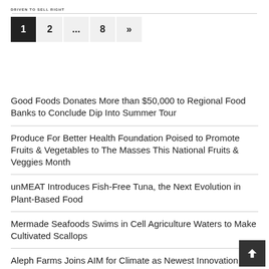DRIVEN TO SELL RIGHT
1 2 ... 8 »
Good Foods Donates More than $50,000 to Regional Food Banks to Conclude Dip Into Summer Tour
Produce For Better Health Foundation Poised to Promote Fruits & Vegetables to The Masses This National Fruits & Veggies Month
unMEAT Introduces Fish-Free Tuna, the Next Evolution in Plant-Based Food
Mermade Seafoods Swims in Cell Agriculture Waters to Make Cultivated Scallops
Aleph Farms Joins AIM for Climate as Newest Innovation